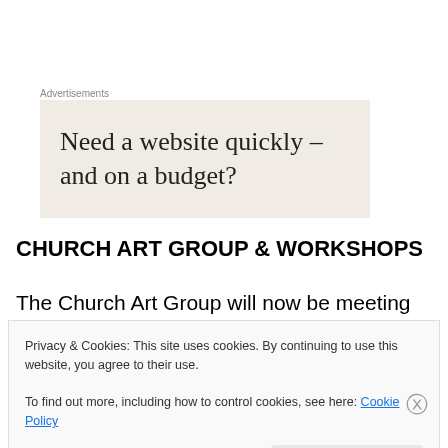Advertisements
[Figure (other): Advertisement banner with beige background showing text: 'Need a website quickly – and on a budget?']
CHURCH ART GROUP & WORKSHOPS
The Church Art Group will now be meeting ONLY on the 3rd Sunday of each month at the Avis and Jeremy Baptist Home from 6:00-9:00 PM
Privacy & Cookies: This site uses cookies. By continuing to use this website, you agree to their use.
To find out more, including how to control cookies, see here: Cookie Policy